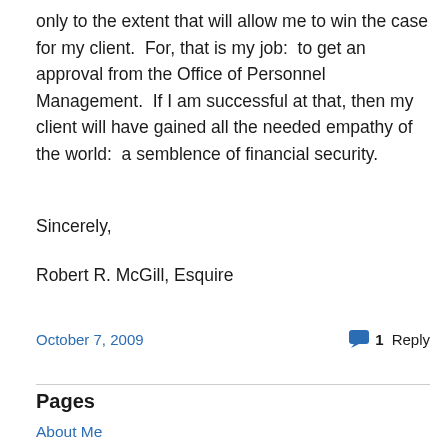only to the extent that will allow me to win the case for my client.  For, that is my job:  to get an approval from the Office of Personnel Management.  If I am successful at that, then my client will have gained all the needed empathy of the world:  a semblence of financial security.
Sincerely,
Robert R. McGill, Esquire
October 7, 2009
1 Reply
Pages
About Me
Contact Us
Copyright